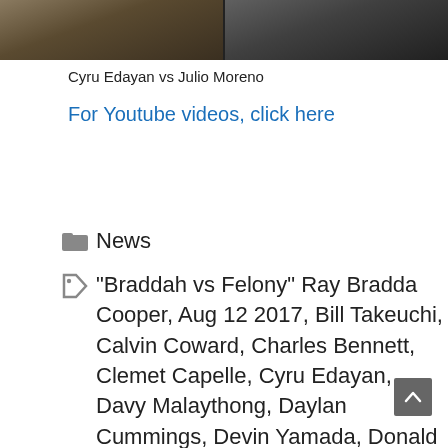[Figure (photo): Two people standing side by side, dark background with partial logos visible]
Cyru Edayan vs Julio Moreno
For Youtube videos, click here
News
"Braddah vs Felony" Ray Bradda Cooper, Aug 12 2017, Bill Takeuchi, Calvin Coward, Charles Bennett, Clemet Capelle, Cyru Edayan, Davy Malaythong, Daylan Cummings, Devin Yamada, Donald Cerrone, Flavian Pilgrim, Gabriel Recheluik, Jared Gonda, Juan Gonzalez, Justin Hugo, Kaeo Meyer, Main Event, Michael Nakagawa, Rafael Brewster, Ray Bradda Cooper